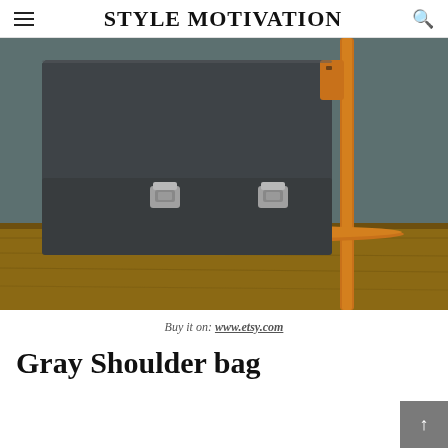STYLE MOTIVATION
[Figure (photo): A gray felt messenger/shoulder bag with two metal clasp buckles and a tan/cognac leather strap, placed on a wooden surface against a teal-gray background.]
Buy it on: www.etsy.com
Gray Shoulder bag